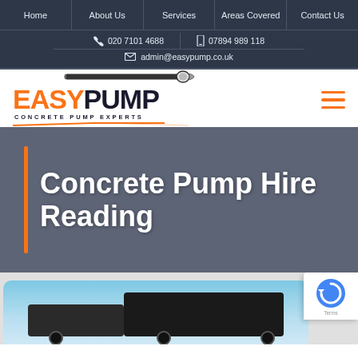Home | About Us | Services | Areas Covered | Contact Us
020 7101 4688   07894 989 118   admin@easypump.co.uk
[Figure (logo): EasyPump Concrete Pump Experts logo with orange EASY and dark PUMP text, pipe illustration above]
Concrete Pump Hire Reading
[Figure (photo): Concrete pump truck photographed against blue sky, partially visible at bottom of page]